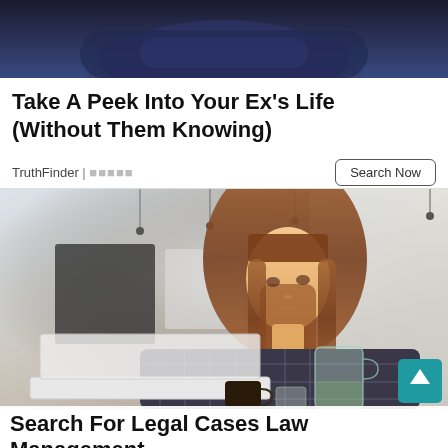[Figure (photo): Top portion of a person with arms crossed wearing a dark blue denim outfit, shown from waist up on dark background — advertisement photo]
Take A Peek Into Your Ex's Life (Without Them Knowing)
TruthFinder | ■■■■■   Search Now
[Figure (photo): Young woman with bangs and long brown hair sitting at a laptop in a bright café or office, wearing a flannel shirt, with a glass pitcher and coffee cup on the table]
Search For Legal Cases Law Management